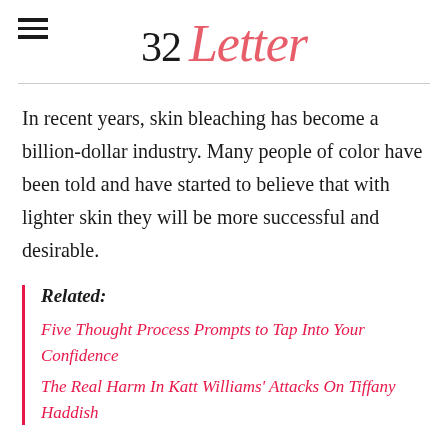32 Letter
In recent years, skin bleaching has become a billion-dollar industry. Many people of color have been told and have started to believe that with lighter skin they will be more successful and desirable.
Related:
Five Thought Process Prompts to Tap Into Your Confidence
The Real Harm In Katt Williams' Attacks On Tiffany Haddish